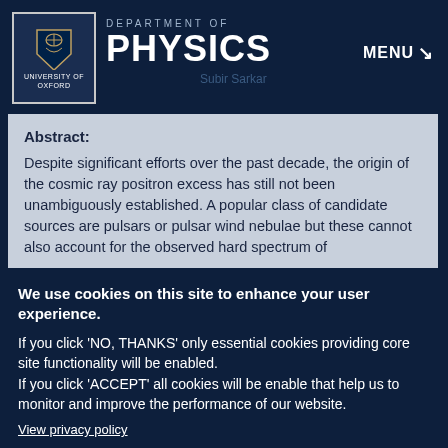DEPARTMENT OF PHYSICS
Abstract:
Despite significant efforts over the past decade, the origin of the cosmic ray positron excess has still not been unambiguously established. A popular class of candidate sources are pulsars or pulsar wind nebulae but these cannot also account for the observed hard spectrum of
We use cookies on this site to enhance your user experience.
If you click 'NO, THANKS' only essential cookies providing core site functionality will be enabled.
If you click 'ACCEPT' all cookies will be enable that help us to monitor and improve the performance of our website.
View privacy policy
ACCEPT
NO, THANKS